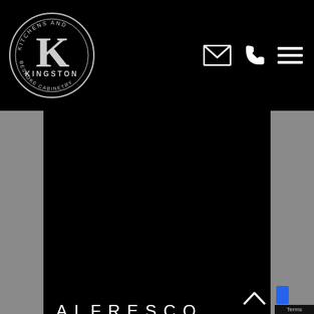[Figure (logo): Kingston Kitchens and Bespoke Cabinetry circular logo with large letter K in center, text around the circle border]
[Figure (infographic): Navigation bar with email envelope icon, phone icon, and hamburger menu icon on dark background]
ALFRESCO
[Figure (illustration): White line-art isometric illustration of an armchair/sofa on black background]